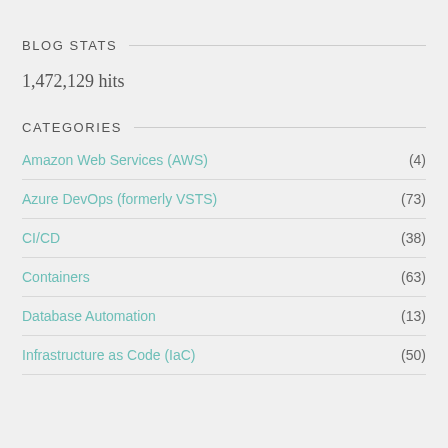BLOG STATS
1,472,129 hits
CATEGORIES
Amazon Web Services (AWS) (4)
Azure DevOps (formerly VSTS) (73)
CI/CD (38)
Containers (63)
Database Automation (13)
Infrastructure as Code (IaC) (50)